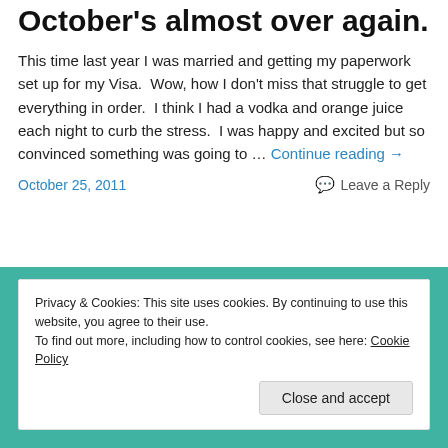October's almost over again.
This time last year I was married and getting my paperwork set up for my Visa.  Wow, how I don't miss that struggle to get everything in order.  I think I had a vodka and orange juice each night to curb the stress.  I was happy and excited but so convinced something was going to … Continue reading →
October 25, 2011   Leave a Reply
Privacy & Cookies: This site uses cookies. By continuing to use this website, you agree to their use.
To find out more, including how to control cookies, see here: Cookie Policy
Close and accept